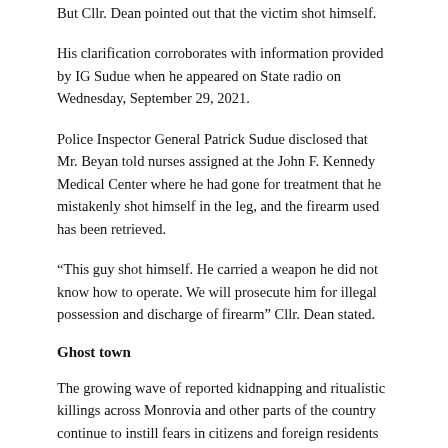But Cllr. Dean pointed out that the victim shot himself.
His clarification corroborates with information provided by IG Sudue when he appeared on State radio on Wednesday, September 29, 2021.
Police Inspector General Patrick Sudue disclosed that Mr. Beyan told nurses assigned at the John F. Kennedy Medical Center where he had gone for treatment that he mistakenly shot himself in the leg, and the firearm used has been retrieved.
“This guy shot himself. He carried a weapon he did not know how to operate. We will prosecute him for illegal possession and discharge of firearm” Cllr. Dean stated.
Ghost town
The growing wave of reported kidnapping and ritualistic killings across Monrovia and other parts of the country continue to instill fears in citizens and foreign residents